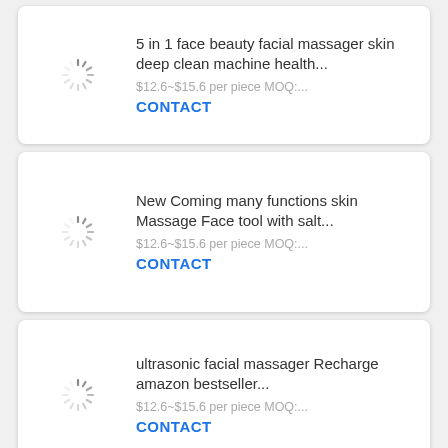[Figure (screenshot): Product listing card 1: spinner loading icon on left, product title '5 in 1 face beauty facial massager skin deep clean machine health...', price '$12.6~$15.6 per piece MOQ:...', CONTACT link]
[Figure (screenshot): Product listing card 2: spinner loading icon on left, product title 'New Coming many functions skin Massage Face tool with salt...', price '$12.6~$15.6 per piece MOQ:...', CONTACT link]
[Figure (screenshot): Product listing card 3: spinner loading icon on left, product title 'ultrasonic facial massager Recharge amazon bestseller...', price '$12.6~$15.6 per piece MOQ:...', CONTACT link]